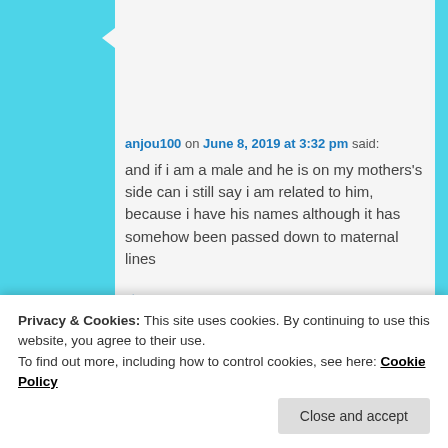[Figure (illustration): User avatar: geometric black and white diamond/quilt pattern square image]
anjou100 on June 8, 2019 at 3:32 pm said:
and if i am a male and he is on my mothers's side can i still say i am related to him, because i have his names although it has somehow been passed down to maternal lines
Loading...
Reply ↓
Privacy & Cookies: This site uses cookies. By continuing to use this website, you agree to their use.
To find out more, including how to control cookies, see here: Cookie Policy
Close and accept